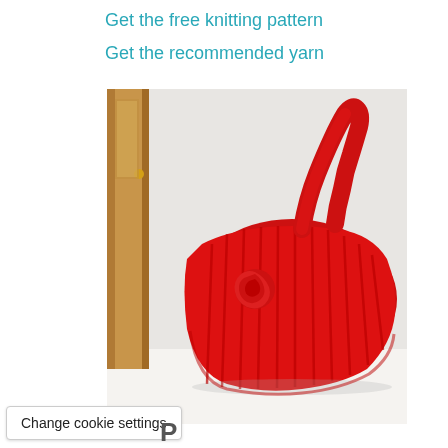Get the free knitting pattern
Get the recommended yarn
[Figure (photo): A red ribbed knitted handbag with a twisted handle, leaning against a white wall on a white surface. The bag has vertical ribbing texture and a decorative rose detail.]
Change cookie settings